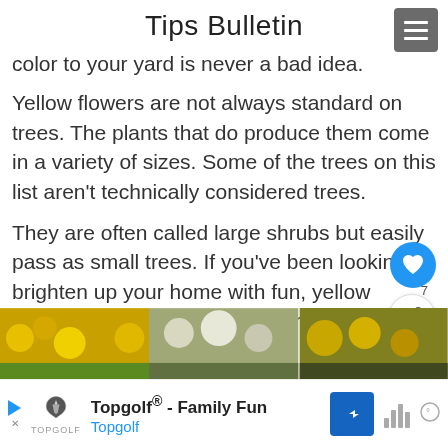Tips Bulletin
color to your yard is never a bad idea.
Yellow flowers are not always standard on trees. The plants that do produce them come in a variety of sizes. Some of the trees on this list aren't technically considered trees.
They are often called large shrubs but easily pass as small trees. If you've been looking to brighten up your home with fun, yellow flowering trees, there are several options for you to choose from
[Figure (photo): Three side-by-side images of yellow flowering trees/shrubs]
[Figure (other): Advertisement bar for Topgolf - Family Fun]